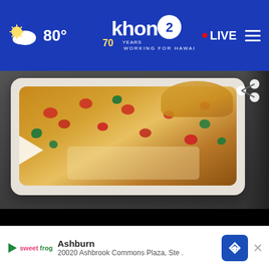KHON2 — 80° — LIVE
[Figure (screenshot): KHON2 news website header with weather showing 80°, KHON2 logo '70 years Working for Hawaii', red dot LIVE button, and hamburger menu]
[Figure (photo): Food in a styrofoam takeout container with vegetables including tomatoes and broccoli in a sauce, with a play button triangle overlay]
[Figure (screenshot): Thumbnail video of food (BBQ related) with play button circle]
[Figure (screenshot): Thumbnail video of outdoor/beach scene with person near truck, play button circle]
[Figure (screenshot): Thumbnail of advertisement - TheBu text visible with HOL text]
Food
BBQ
Free b
route
Ashburn
20020 Ashbrook Commons Plaza, Ste .